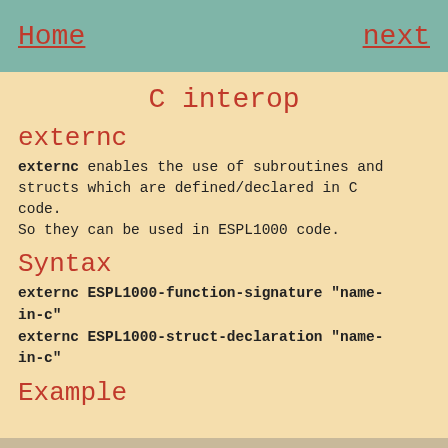Home   next
C interop
externc
externc enables the use of subroutines and structs which are defined/declared in C code.
So they can be used in ESPL1000 code.
Syntax
externc ESPL1000-function-signature "name-in-c"
externc ESPL1000-struct-declaration "name-in-c"
Example